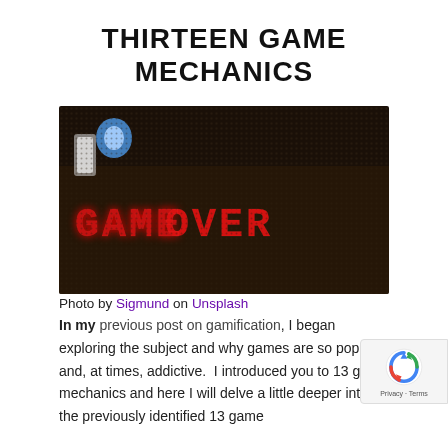THIRTEEN GAME MECHANICS
[Figure (photo): A dark LED display screen showing 'GAME OVER' in glowing red pixel letters with blue and white lights in upper left background]
Photo by Sigmund on Unsplash
In my previous post on gamification, I began exploring the subject and why games are so popular and, at times, addictive.  I introduced you to 13 game mechanics and here I will delve a little deeper into the previously identified 13 game